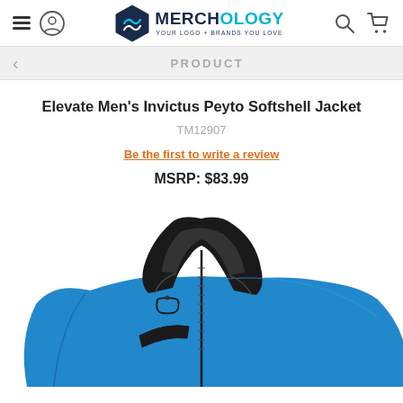Merchology — YOUR LOGO + BRANDS YOU LOVE
PRODUCT
Elevate Men's Invictus Peyto Softshell Jacket
TM12907
Be the first to write a review
MSRP: $83.99
[Figure (photo): Blue softshell jacket with black collar lining and zipper details, shown from front angle]